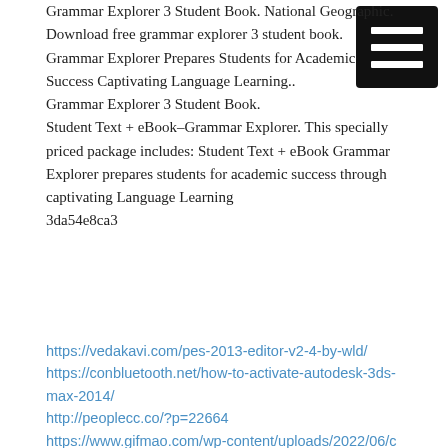Grammar Explorer 3 Student Book. National Geographic. Download free grammar explorer 3 student book.
Grammar Explorer Prepares Students for Academic Success Captivating Language Learning..
Grammar Explorer 3 Student Book.
Student Text + eBook–Grammar Explorer. This specially priced package includes: Student Text + eBook Grammar Explorer prepares students for academic success through captivating Language Learning
3da54e8ca3
[Figure (other): Black square menu/hamburger icon with three white horizontal bars]
https://vedakavi.com/pes-2013-editor-v2-4-by-wld/
https://conbluetooth.net/how-to-activate-autodesk-3ds-max-2014/
http://peoplecc.co/?p=22664
https://www.gifmao.com/wp-content/uploads/2022/06/ceslat.pdf
https://paulocristian.com/2022/06/22/veeam-backup-and-replication-enterprise-keygen-torrents-link-free-download/
https://connectingner.com/2022/06/22/paradigm-geolog-7-2011-1-best/